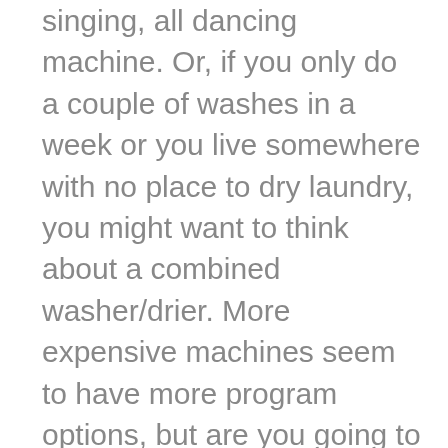singing, all dancing machine. Or, if you only do a couple of washes in a week or you live somewhere with no place to dry laundry, you might want to think about a combined washer/drier. More expensive machines seem to have more program options, but are you going to use them? Are you worried about any impact on the environment? There are washing machines on the market that offer short cycles or 'quick wash' (to save on energy.) Some offer half washes with only half the water normally used, all of which have less impact on the environment. I have to say that the short cycle is a blessing in many ways. With limited leisure time at weekends, the last thing I want to do is stay in because the washing machine hasn't finished!